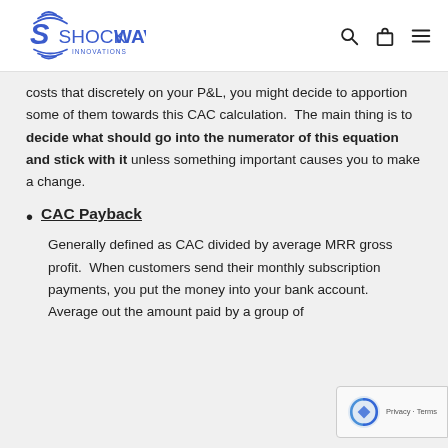SHOCKWAVE INNOVATIONS
costs that discretely on your P&L, you might decide to apportion some of them towards this CAC calculation.  The main thing is to decide what should go into the numerator of this equation and stick with it unless something important causes you to make a change.
CAC Payback
Generally defined as CAC divided by average MRR gross profit.  When customers send their monthly subscription payments, you put the money into your bank account.  Average out the amount paid by a group of